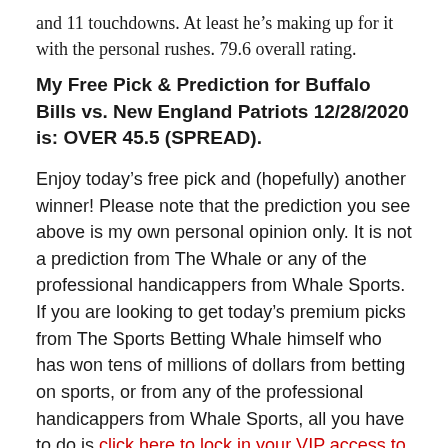and 11 touchdowns. At least he's making up for it with the personal rushes. 79.6 overall rating.
My Free Pick & Prediction for Buffalo Bills vs. New England Patriots 12/28/2020 is: OVER 45.5 (SPREAD).
Enjoy today's free pick and (hopefully) another winner! Please note that the prediction you see above is my own personal opinion only. It is not a prediction from The Whale or any of the professional handicappers from Whale Sports. If you are looking to get today's premium picks from The Sports Betting Whale himself who has won tens of millions of dollars from betting on sports, or from any of the professional handicappers from Whale Sports, all you have to do is click here to lock in your VIP access to The Whale Picks.
Or: Text “VIP” to: +1 702-462-1135